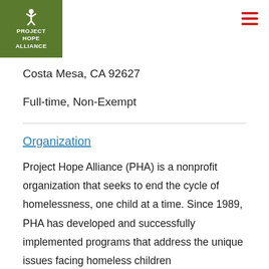[Figure (logo): Project Hope Alliance logo — olive green square background with white figure icon and white text reading PROJECT HOPE ALLIANCE]
Costa Mesa, CA 92627
Full-time, Non-Exempt
Organization
Project Hope Alliance (PHA) is a nonprofit organization that seeks to end the cycle of homelessness, one child at a time. Since 1989, PHA has developed and successfully implemented programs that address the unique issues facing homeless children